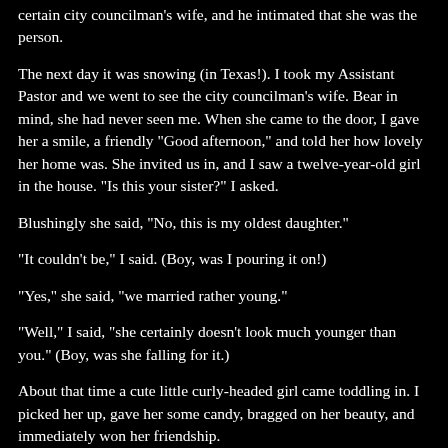certain city councilman's wife, and he intimated that she was the person.
The next day it was snowing (in Texas!). I took my Assistant Pastor and we went to see the city councilman's wife. Bear in mind, she had never seen me. When she came to the door, I gave her a smile, a friendly "Good afternoon," and told her how lovely her home was. She invited us in, and I saw a twelve-year-old girl in the house. "Is this your sister?" I asked.
Blushingly she said, "No, this is my oldest daughter."
"It couldn't be," I said. (Boy, was I pouring it on!)
"Yes," she said, "we married rather young."
"Well," I said, "she certainly doesn't look much younger than you." (Boy, was she falling for it.)
About that time a cute little curly-headed girl came toddling in. I picked her up, gave her some candy, bragged on her beauty, and immediately won her friendship.